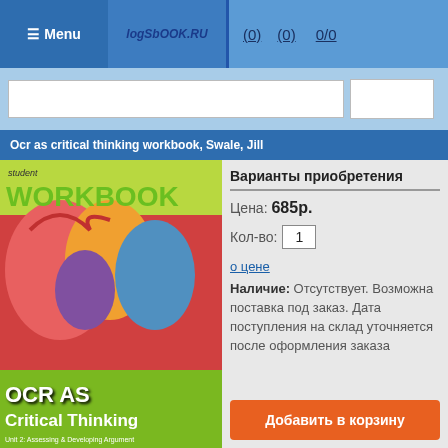☰ Menu  logbook.ru  (0)  (0)  0/0
Ocr as critical thinking workbook, Swale, Jill
[Figure (photo): Student Workbook book cover for OCR AS Critical Thinking, Unit 2: Assessing & Developing Argument]
Варианты приобретения
Цена: 685р.
Кол-во: 1
о цене
Наличие: Отсутствует. Возможна поставка под заказ. Дата поступления на склад уточняется после оформления заказа
Добавить в корзину